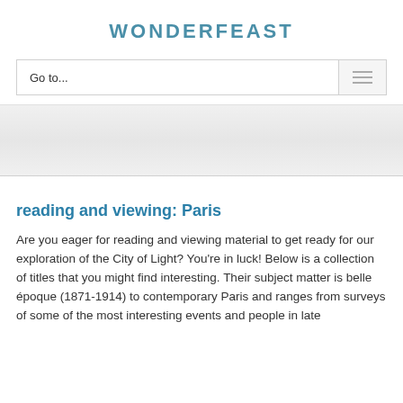WONDERFEAST
reading and viewing: Paris
Are you eager for reading and viewing material to get ready for our exploration of the City of Light? You're in luck! Below is a collection of titles that you might find interesting. Their subject matter is belle époque (1871-1914) to contemporary Paris and ranges from surveys of some of the most interesting events and people in late...